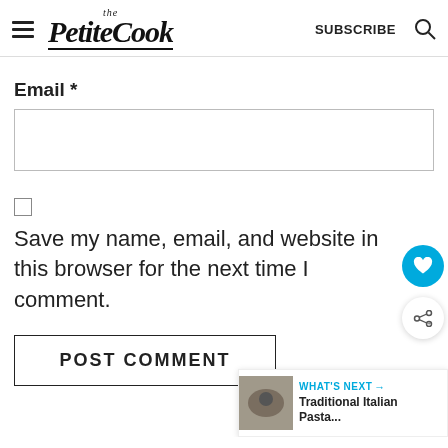the PetiteCook | SUBSCRIBE
Email *
Save my name, email, and website in this browser for the next time I comment.
POST COMMENT